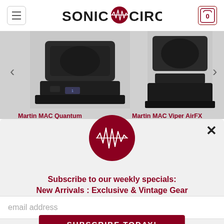[Figure (logo): Sonic Circus logo: dark red circle with waveform, text SONIC CIRCUS in bold black capitals]
[Figure (photo): Two Martin MAC lighting fixtures on gray background - Martin MAC Quantum on left, Martin MAC Viper AirFX on right]
Martin MAC Quantum
Martin MAC Viper AirFX
[Figure (logo): Sonic Circus logo in modal popup - dark red circle with white waveform]
Subscribe to our weekly specials:
New Arrivals : Exclusive & Vintage Gear
email address
SUBSCRIBE TODAY!